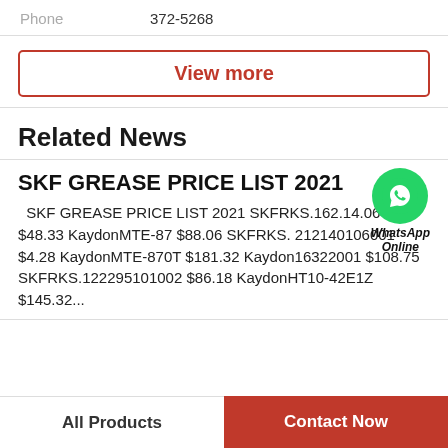Phone   372-5268
View more
Related News
SKF GREASE PRICE LIST 2021
SKF GREASE PRICE LIST 2021 SKFRKS.162.14.0644 $48.33 KaydonMTE-87 $88.06 SKFRKS. 212140106001 $4.28 KaydonMTE-870T $181.32 Kaydon16322001 $108.75 SKFRKS.122295101002 $86.18 KaydonHT10-42E1Z $145.32...
[Figure (illustration): WhatsApp Online green icon with phone handset and label 'WhatsApp Online']
All Products
Contact Now